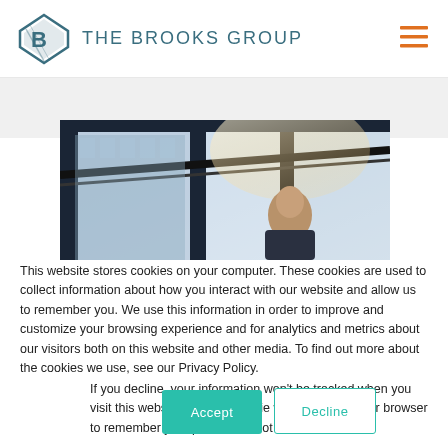THE BROOKS GROUP
[Figure (photo): Person looking up through glass windows/ceiling of a modern building, with natural light coming through]
This website stores cookies on your computer. These cookies are used to collect information about how you interact with our website and allow us to remember you. We use this information in order to improve and customize your browsing experience and for analytics and metrics about our visitors both on this website and other media. To find out more about the cookies we use, see our Privacy Policy.
If you decline, your information won't be tracked when you visit this website. A single cookie will be used in your browser to remember your preference not to be tracked.